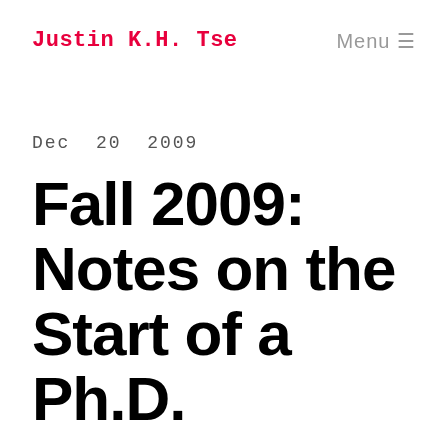Justin K.H. Tse
Menu ≡
Dec  20  2009
Fall 2009: Notes on the Start of a Ph.D.
The Fall 2009 term has drawn to a close. I have